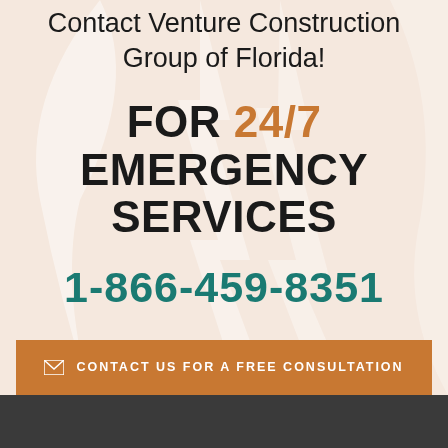Contact Venture Construction Group of Florida!
FOR 24/7 EMERGENCY SERVICES
1-866-459-8351
CONTACT US FOR A FREE CONSULTATION